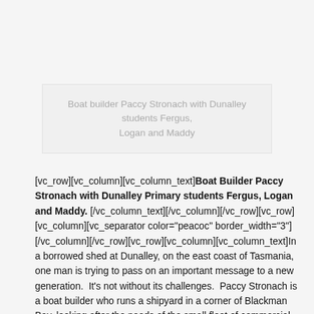Boat builder Paccy Stronach with Dunalley students Fergus, Logan and Maddy
[vc_row][vc_column][vc_column_text]Boat Builder Paccy Stronach with Dunalley Primary students Fergus, Logan and Maddy. [/vc_column_text][/vc_column][/vc_row][vc_row][vc_column][vc_separator color="peacoc" border_width="3"][/vc_column][/vc_row][vc_row][vc_column][vc_column_text]In a borrowed shed at Dunalley, on the east coast of Tasmania, one man is trying to pass on an important message to a new generation.  It's not without its challenges.  Paccy Stronach is a boat builder who runs a shipyard in a corner of Blackman Bay, looking after the needs of the small fleet of commercial and recreational boats that moor there.  He's a practical man, good with his hands, and has a very Irish twinkle in his eye, as you would expect of a fellow who has spent a good deal of his life in the west of Ireland. When he's not scraping paint or grinding ironwork or mending a propellor, his real enthusiasm is for wooden boats and the little school he runs